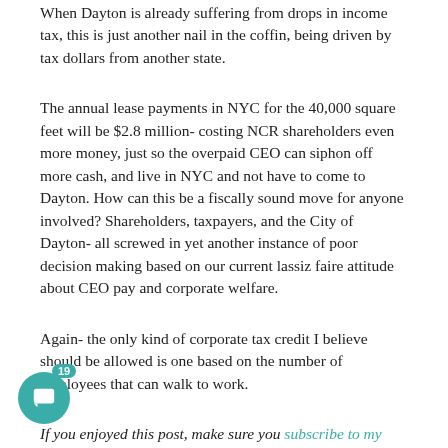When Dayton is already suffering from drops in income tax, this is just another nail in the coffin, being driven by tax dollars from another state.
The annual lease payments in NYC for the 40,000 square feet will be $2.8 million- costing NCR shareholders even more money, just so the overpaid CEO can siphon off more cash, and live in NYC and not have to come to Dayton. How can this be a fiscally sound move for anyone involved? Shareholders, taxpayers, and the City of Dayton- all screwed in yet another instance of poor decision making based on our current lassiz faire attitude about CEO pay and corporate welfare.
Again- the only kind of corporate tax credit I believe should be allowed is one based on the number of employees that can walk to work.
If you enjoyed this post, make sure you subscribe to my RSS feed! If you wish to support this blog and independent journalism in Dayton, consider donating. All of the effort that goes into writing posts and creating videos comes directly out of my pocket, so any amount helps!